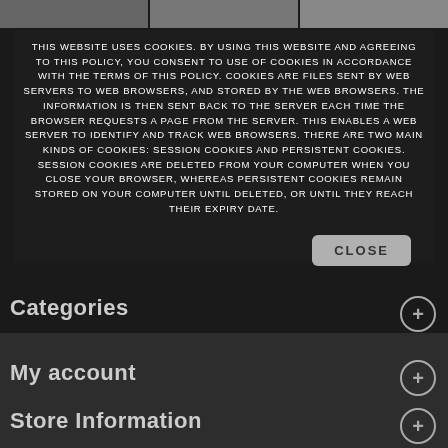[Figure (screenshot): Top strip with three product image thumbnails in dark tones]
790,63 €   310,94 €   273,44 €
THIS WEBSITE USES COOKIES. BY USING THIS WEBSITE AND AGREEING TO THIS POLICY, YOU CONSENT TO USE OF COOKIES IN ACCORDANCE WITH THE TERMS OF THIS POLICY. COOKIES ARE FILES SENT BY WEB SERVERS TO WEB BROWSERS, AND STORED BY THE WEB BROWSERS. THE INFORMATION IS THEN SENT BACK TO THE SERVER EACH TIME THE BROWSER REQUESTS A PAGE FROM THE SERVER. THIS ENABLES A WEB SERVER TO IDENTIFY AND TRACK WEB BROWSERS. THERE ARE TWO MAIN KINDS OF COOKIES: SESSION COOKIES AND PERSISTENT COOKIES. SESSION COOKIES ARE DELETED FROM YOUR COMPUTER WHEN YOU CLOSE YOUR BROWSER, WHEREAS PERSISTENT COOKIES REMAIN STORED ON YOUR COMPUTER UNTIL DELETED, OR UNTIL THEY REACH THEIR EXPIRY DATE.
CLOSE
Categories
My account
Store Information